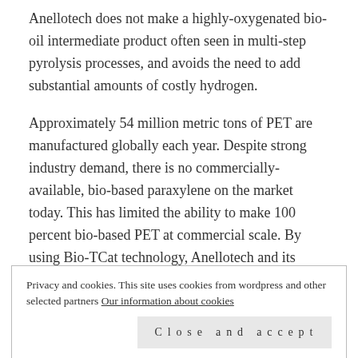Anellotech does not make a highly-oxygenated bio-oil intermediate product often seen in multi-step pyrolysis processes, and avoids the need to add substantial amounts of costly hydrogen.
Approximately 54 million metric tons of PET are manufactured globally each year. Despite strong industry demand, there is no commercially-available, bio-based paraxylene on the market today. This has limited the ability to make 100 percent bio-based PET at commercial scale. By using Bio-TCat technology, Anellotech and its partners are accelerating the development of bio-based paraxylene and other widely-used chemicals including benzene, toluene and
Privacy and cookies. This site uses cookies from wordpress and other selected partners Our information about cookies
for consumer use.